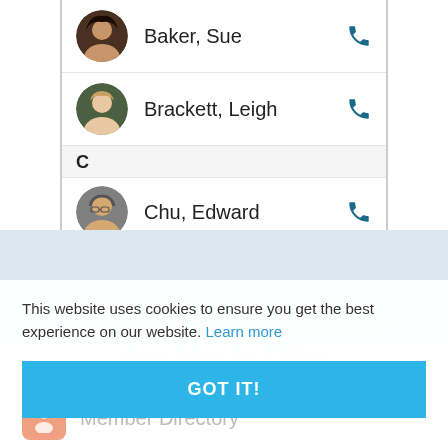[Figure (screenshot): Mobile app contacts list showing Baker Sue, Brackett Leigh, and partially visible Chu Edward entries with phone icons and circular profile photos. Section letter C separator visible.]
This website uses cookies to ensure you get the best experience on our website. Learn more
GOT IT!
Member Directory